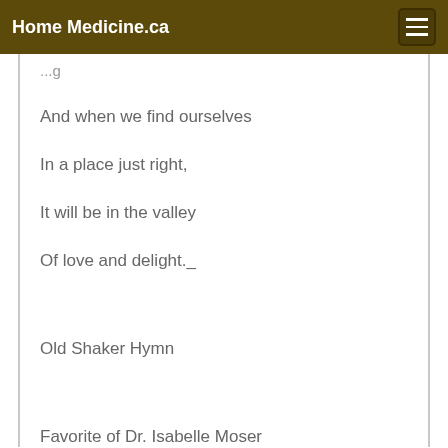Home Medicine.ca
And when we find ourselves
In a place just right,
It will be in the valley
Of love and delight._
Old Shaker Hymn
Favorite of Dr. Isabelle Moser